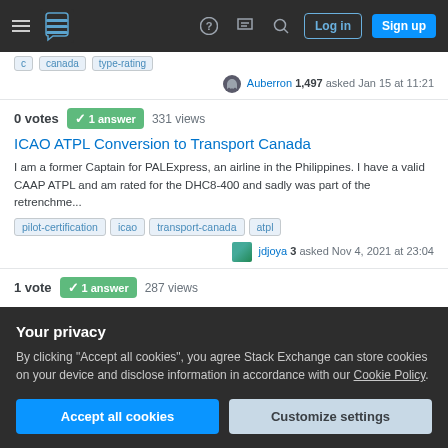Navigation bar with hamburger menu, logo, help, chat, search icons, Log in and Sign up buttons
Auberron 1,497 asked Jan 15 at 11:21
0 votes  1 answer  331 views
ICAO ATPL Conversion to Transport Canada
I am a former Captain for PALExpress, an airline in the Philippines. I have a valid CAAP ATPL and am rated for the DHC8-400 and sadly was part of the retrenchme...
pilot-certification
icao
transport-canada
atpl
jdjoya 3 asked Nov 4, 2021 at 23:04
1 vote  1 answer  287 views
Your privacy
By clicking "Accept all cookies", you agree Stack Exchange can store cookies on your device and disclose information in accordance with our Cookie Policy.
Accept all cookies
Customize settings